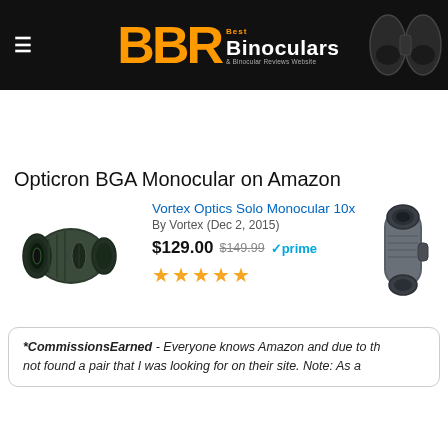BBR Best Binoculars & Binocular Reviews Website
Opticron BGA Monocular on Amazon
Vortex Optics Solo Monocular 10x36
By Vortex (Dec 2, 2015)
$129.00  $149.99  ✓prime
★★★★★
*CommissionsEarned - Everyone knows Amazon and due to th... not found a pair that I was looking for on their site. Note: As a